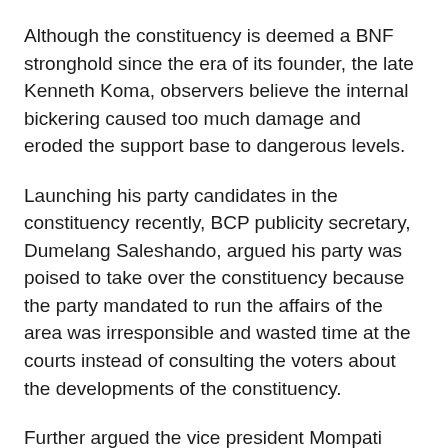Although the constituency is deemed a BNF stronghold since the era of its founder, the late Kenneth Koma, observers believe the internal bickering caused too much damage and eroded the support base to dangerous levels.
Launching his party candidates in the constituency recently, BCP publicity secretary, Dumelang Saleshando, argued his party was poised to take over the constituency because the party mandated to run the affairs of the area was irresponsible and wasted time at the courts instead of consulting the voters about the developments of the constituency.
Further argued the vice president Mompati Merafhe, while launching his party's candidates in the constituency: